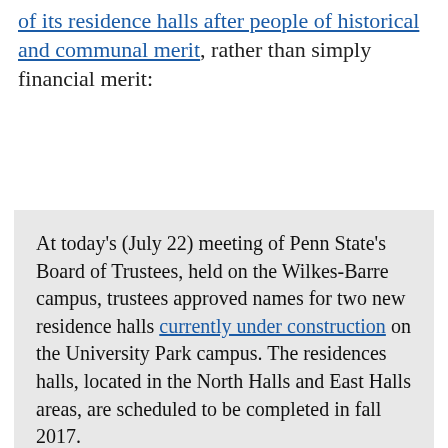of its residence halls after people of historical and communal merit, rather than simply financial merit:
At today's (July 22) meeting of Penn State's Board of Trustees, held on the Wilkes-Barre campus, trustees approved names for two new residence halls currently under construction on the University Park campus. The residences halls, located in the North Halls and East Halls areas, are scheduled to be completed in fall 2017.

The new 310-bed residence hall in